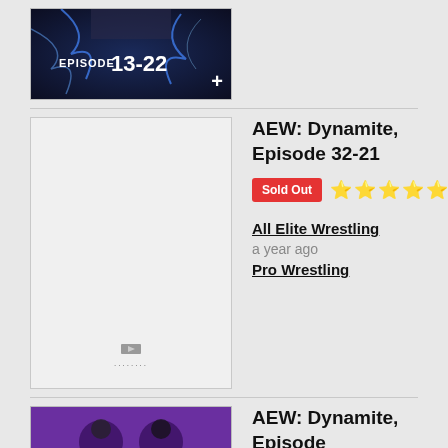[Figure (screenshot): Thumbnail image for AEW episode 13-22 with lightning blue effects and text 'EPISODE 13-22' plus a '+' button]
[Figure (screenshot): Blank/loading thumbnail placeholder for AEW Dynamite Episode 32-21 with dots at bottom]
AEW: Dynamite, Episode 32-21
Sold Out ⭐⭐⭐⭐⭐
All Elite Wrestling
a year ago
Pro Wrestling
[Figure (screenshot): Thumbnail image for another AEW Dynamite episode with purple background]
AEW: Dynamite, Episode